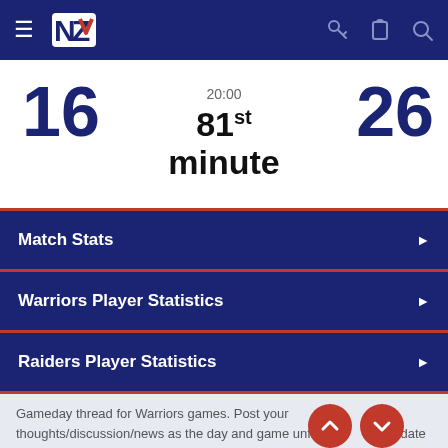NZ Warriors navigation bar
16  20:00  26
81st minute
Match Stats
Warriors Player Statistics
Raiders Player Statistics
Gameday thread for Warriors games. Post your thoughts/discussion/news as the day and game unfolds. Scores update every 5mins during the game.